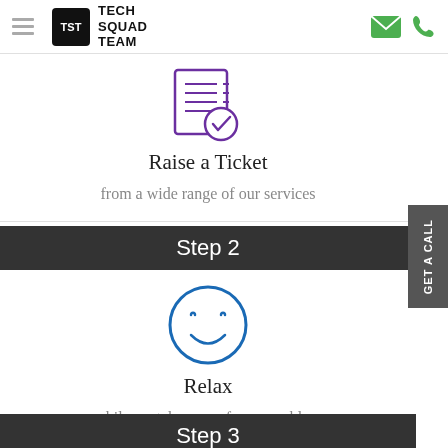Tech Squad Team
[Figure (illustration): Purple ticket/checklist icon with a checkmark circle]
Raise a Ticket
from a wide range of our services
Step 2
[Figure (illustration): Blue smiley face icon inside a circle]
Relax
while we take care of your problem
Step 3